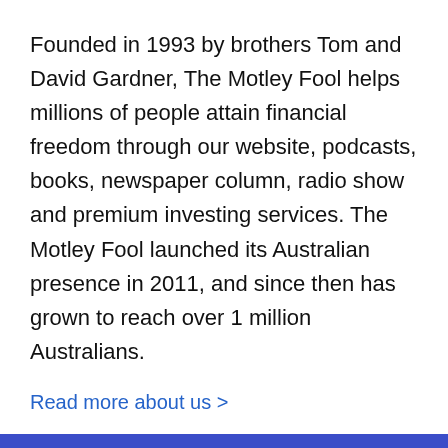Founded in 1993 by brothers Tom and David Gardner, The Motley Fool helps millions of people attain financial freedom through our website, podcasts, books, newspaper column, radio show and premium investing services. The Motley Fool launched its Australian presence in 2011, and since then has grown to reach over 1 million Australians.
Read more about us >
[Figure (logo): The Motley Fool logo on blue background — jester hat icon with white text 'The Motley Fool']